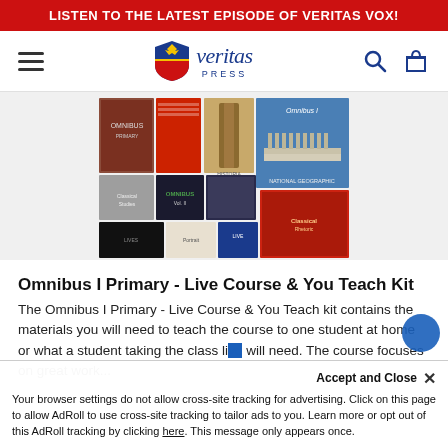LISTEN TO THE LATEST EPISODE OF VERITAS VOX!
[Figure (logo): Veritas Press logo with shield/eagle icon and italic 'veritas' text and 'PRESS' subtitle]
[Figure (photo): Collage of Omnibus I book covers including classics, history, and literature texts arranged in a grid]
Omnibus I Primary - Live Course & You Teach Kit
The Omnibus I Primary - Live Course & You Teach kit contains the materials you will need to teach the course to one student at home or what a student taking the class li... will need. The course focuses on great work...
Your browser settings do not allow cross-site tracking for advertising. Click on this page to allow AdRoll to use cross-site tracking to tailor ads to you. Learn more or opt out of this AdRoll tracking by clicking here. This message only appears once.